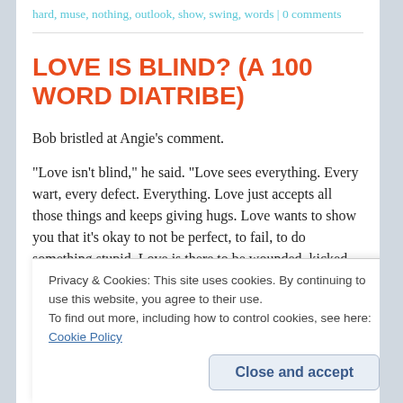hard, muse, nothing, outlook, show, swing, words | 0 comments
LOVE IS BLIND? (A 100 WORD DIATRIBE)
Bob bristled at Angie's comment.
“Love isn't blind,” he said.  “Love sees everything. Every wart, every defect.  Everything.  Love just accepts all those things and keeps giving hugs.  Love wants to show you that it’s okay to not be perfect, to fail, to do something stupid.  Love is there to be wounded, kicked...
Privacy & Cookies: This site uses cookies. By continuing to use this website, you agree to their use.
To find out more, including how to control cookies, see here: Cookie Policy
“But Charlie is blind in the book.” Angie said.